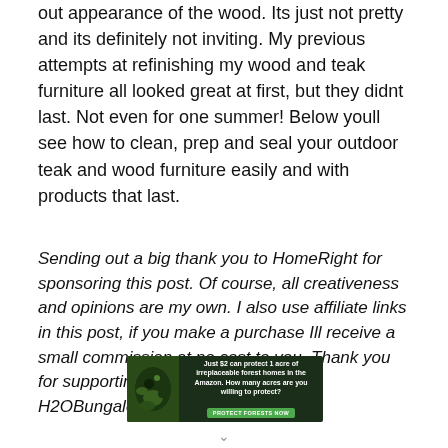out appearance of the wood. Its just not pretty and its definitely not inviting. My previous attempts at refinishing my wood and teak furniture all looked great at first, but they didnt last. Not even for one summer! Below youll see how to clean, prep and seal your outdoor teak and wood furniture easily and with products that last.
Sending out a big thank you to HomeRight for sponsoring this post. Of course, all creativeness and opinions are my own. I also use affiliate links in this post, if you make a purchase Ill receive a small commission at no cost to you. Thank you for supporting the brands that keep H2OBungalow going!
[Figure (other): Advertisement banner: dark green background with image of animal in forest on left, text 'Just $2 can protect 1 acre of irreplaceable forest homes in the Amazon. How many acres are you willing to protect?' with green button 'PROTECT FORESTS NOW']